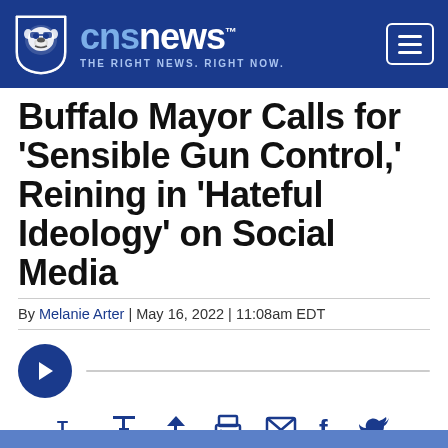cnsnews™ THE RIGHT NEWS. RIGHT NOW.
Buffalo Mayor Calls for 'Sensible Gun Control,' Reining in 'Hateful Ideology' on Social Media
By Melanie Arter | May 16, 2022 | 11:08am EDT